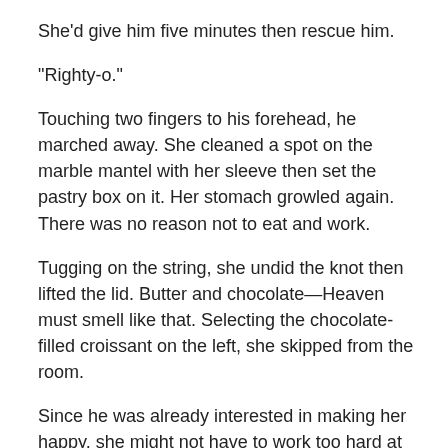She'd give him five minutes then rescue him.
“Righty-o.”
Touching two fingers to his forehead, he marched away. She cleaned a spot on the marble mantel with her sleeve then set the pastry box on it. Her stomach growled again. There was no reason not to eat and work.
Tugging on the string, she undid the knot then lifted the lid. Butter and chocolate—Heaven must smell like that. Selecting the chocolate-filled croissant on the left, she skipped from the room.
Since he was already interested in making her happy, she might not have to work too hard at seducing him.
She bit into the sweet when she reached the bottom of the